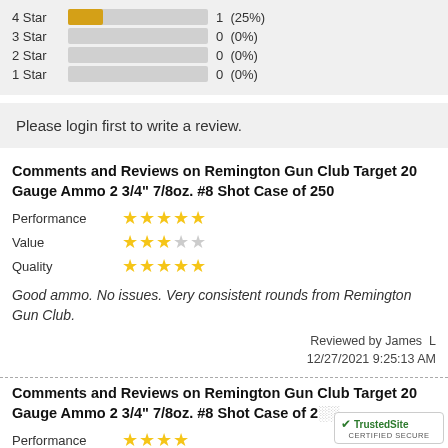[Figure (bar-chart): Star Rating Distribution]
Please login first to write a review.
Comments and Reviews on Remington Gun Club Target 20 Gauge Ammo 2 3/4" 7/8oz. #8 Shot Case of 250
Performance ★★★★★
Value ★★★☆☆
Quality ★★★★★
Good ammo. No issues. Very consistent rounds from Remington Gun Club.
Reviewed by James  L
12/27/2021 9:25:13 AM
Comments and Reviews on Remington Gun Club Target 20 Gauge Ammo 2 3/4" 7/8oz. #8 Shot Case of 250
Performance ★★★★